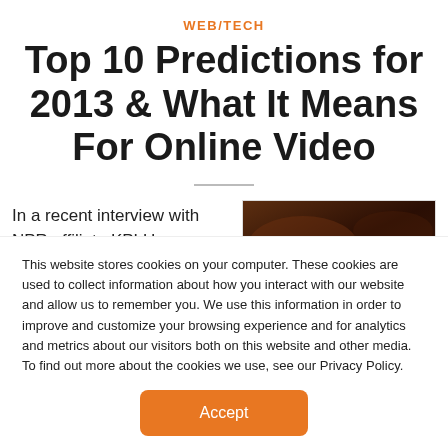WEB/TECH
Top 10 Predictions for 2013 & What It Means For Online Video
In a recent interview with NPR affiliate KPLU,
[Figure (photo): Dark brownish image, likely a video thumbnail or related photo]
This website stores cookies on your computer. These cookies are used to collect information about how you interact with our website and allow us to remember you. We use this information in order to improve and customize your browsing experience and for analytics and metrics about our visitors both on this website and other media. To find out more about the cookies we use, see our Privacy Policy.